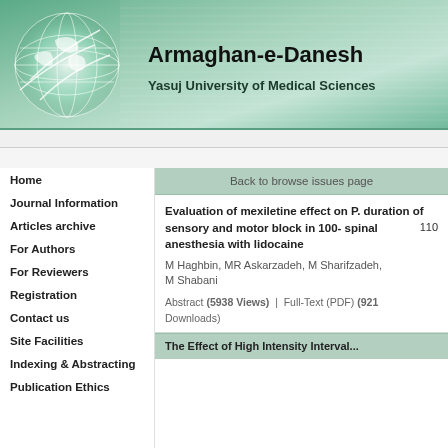[Figure (illustration): Armaghan-e-Danesh journal banner with globe graphic on left, teal/green gradient background with horizontal stripe overlay, journal title and university name on right]
Armaghan-e-Danesh
Yasuj University of Medical Sciences
Home
Journal Information
Articles archive
For Authors
For Reviewers
Registration
Contact us
Site Facilities
Indexing & Abstracting
Publication Ethics
Back to browse issues page
Evaluation of mexiletine effect on P. duration of sensory and motor block in 100-110 spinal anesthesia with lidocaine
M Haghbin, MR Askarzadeh, M Sharifzadeh, M Shabani
Abstract (5938 Views)  |  Full-Text (PDF) (921 Downloads)
The Effect of High Intensity Interval...